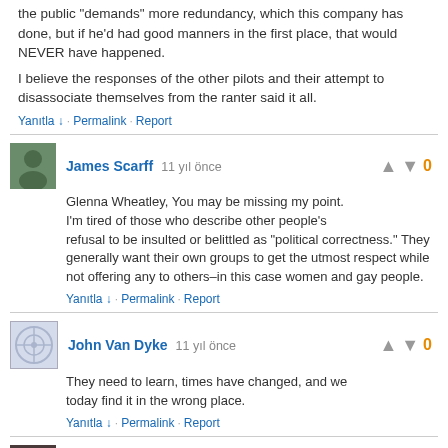the public 'demands' more redundancy, which this company has done, but if he'd had good manners in the first place, that would NEVER have happened.

I believe the responses of the other pilots and their attempt to disassociate themselves from the ranter said it all.
Yanıtla ↓ · Permalink · Report
James Scarff  11 yıl önce
Glenna Wheatley, You may be missing my point. I'm tired of those who describe other people's refusal to be insulted or belittled as "political correctness." They generally want their own groups to get the utmost respect while not offering any to others–in this case women and gay people.
Yanıtla ↓ · Permalink · Report
John Van Dyke  11 yıl önce
They need to learn, times have changed, and we today find it in the wrong place.
Yanıtla ↓ · Permalink · Report
mrdedwalker  11 yıl önce
@Barbara Gould - only on pprune every so often. The only thing I'm laughing about is the guys stupidity and how he has got what he eventually asked for. I'm disheartened that so many pilots seemed to attack the one guy (on pprune) who challenged what (the content) he had to say &